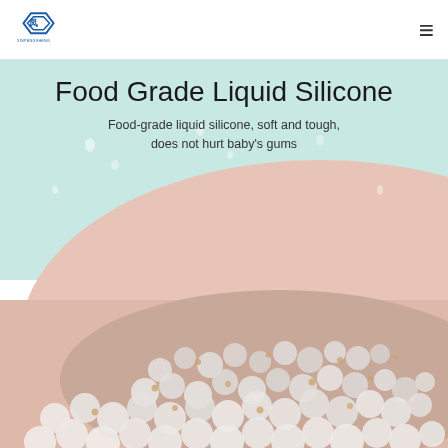XINPENGSHENG logo and navigation menu
Food Grade Liquid Silicone
Food-grade liquid silicone, soft and tough, does not hurt baby's gums
[Figure (photo): Close-up photo of clear/transparent silicone beads/pellets piled on a pale pink surface, with a light blue-green background visible in the upper portion. The image shows food-grade liquid silicone material in its raw bead form.]